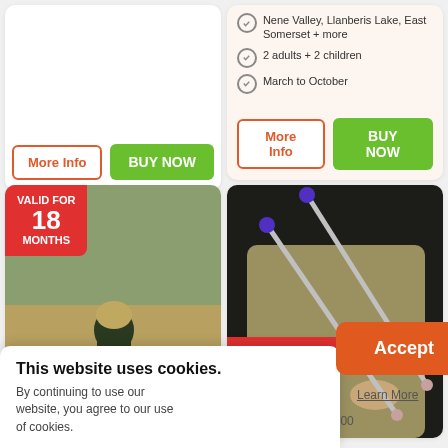Nene Valley, Llanberis Lake, East Somerset + more
2 adults + 2 children
March to October
More Info
BUY NOW
More Info
BUY NOW
[Figure (photo): Person crouching outdoors making a fire, with a VALID FOR 18 MONTHS badge overlay]
[Figure (photo): Person holding drum sticks, with a 30% OFF badge overlay]
30% OFF
Drum Sticks
was £9.99 save £3.00
This website uses cookies. By continuing to use our website, you agree to our use of cookies.
Accept
Learn More